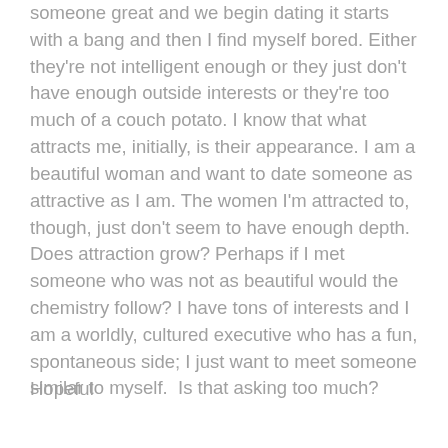someone great and we begin dating it starts with a bang and then I find myself bored. Either they're not intelligent enough or they just don't have enough outside interests or they're too much of a couch potato. I know that what attracts me, initially, is their appearance. I am a beautiful woman and want to date someone as attractive as I am. The women I'm attracted to, though, just don't seem to have enough depth.  Does attraction grow? Perhaps if I met someone who was not as beautiful would the chemistry follow? I have tons of interests and I am a worldly, cultured executive who has a fun, spontaneous side; I just want to meet someone similar to myself.  Is that asking too much?
Hopeful